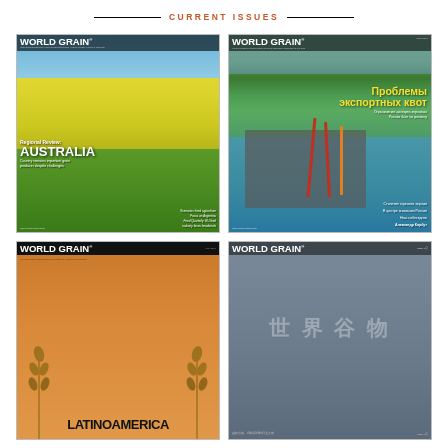CURRENT ISSUES
[Figure (photo): World Grain magazine cover - Regional Review: Australia issue, featuring yellow canola field. Text: WORLD GRAIN, Regional Review: AUSTRALIA, Country remains important grain producer despite challenges, Feed Quarterly: EU feed industry faces headwinds]
[Figure (photo): World Grain magazine cover - Russian edition featuring port/harbor scene with mountains. Text in Russian: Проблемы экспортных квот (Problems of export quotas), Ограничение экспорта зерновых России бьет по региону, Столетие торговли зерном, В центре внимания Россия, Наш собеседник Александр Корбут]
[Figure (photo): World Grain magazine cover - Latinoamerica edition, orange background with wheat stalks. Text: WORLD GRAIN, LATINOAMERICA]
[Figure (photo): World Grain magazine cover - Chinese edition (世界谷物), gray/blue background. Text: WORLD GRAIN, 世界谷物]